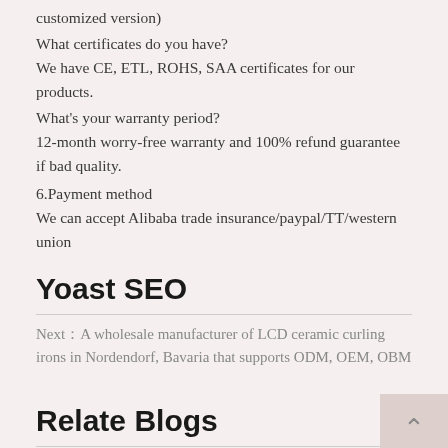customized version)
What certificates do you have?
We have CE, ETL, ROHS, SAA certificates for our products.
What's your warranty period?
12-month worry-free warranty and 100% refund guarantee if bad quality.
6.Payment method
We can accept Alibaba trade insurance/paypal/TT/western union
Yoast SEO
Next：A wholesale manufacturer of LCD ceramic curling irons in Nordendorf, Bavaria that supports ODM, OEM, OBM
Relate Blogs
Cut off text (partial)